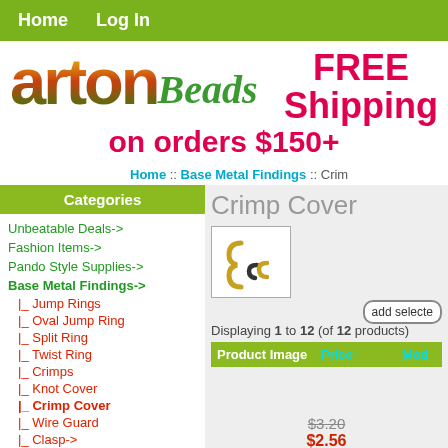Home  Log In
[Figure (logo): artonBeads logo with colorful gradient text and FREE Shipping on orders $150+ promotional text]
Home :: Base Metal Findings :: Crimp
Categories
Unbeatable Deals->
Fashion Items->
Pando Style Supplies->
Base Metal Findings->
|_  Jump Rings
|_  Oval Jump Ring
|_  Split Ring
|_  Twist Ring
|_  Crimps
|_  Knot Cover
|_  Crimp Cover
|_  Wire Guard
|_  Clasp->
|_  Head Pin->
|_  Eye Pin
Crimp Cover
[Figure (photo): Small photo showing crimp cover jewelry findings - gold and dark metal C-shaped crimps]
add selected
Displaying 1 to 12 (of 12 products)
| Product Image | Price- | Mod... |
| --- | --- | --- |
$3.20
$2.56
Save: 20%